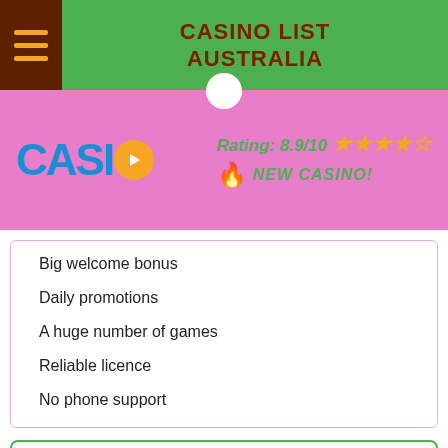CASINO LIST AUSTRALIA
[Figure (logo): CasiGO casino logo with blue text and orange play button circle]
Rating: 8.9/10 ★★★★☆ 🔥 NEW CASINO!
Big welcome bonus
Daily promotions
A huge number of games
Reliable licence
No phone support
WELCOME PACKAGE: AU$1,100 + 375 FREE SPINS
GET BONUS
Go to CasiGO casino